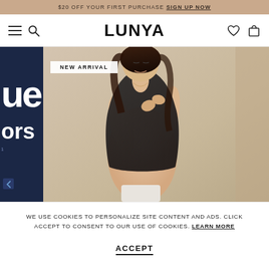$20 OFF YOUR FIRST PURCHASE SIGN UP NOW
[Figure (screenshot): Lunya brand navigation bar with hamburger menu, search icon, LUNYA logo, heart icon, and shopping bag icon]
[Figure (photo): Fashion photo of a woman smiling and holding a dark satin top, with 'NEW ARRIVAL' badge overlay on the left side panel showing partial text 'ue' and 'ors']
WE USE COOKIES TO PERSONALIZE SITE CONTENT AND ADS. CLICK ACCEPT TO CONSENT TO OUR USE OF COOKIES. LEARN MORE
ACCEPT